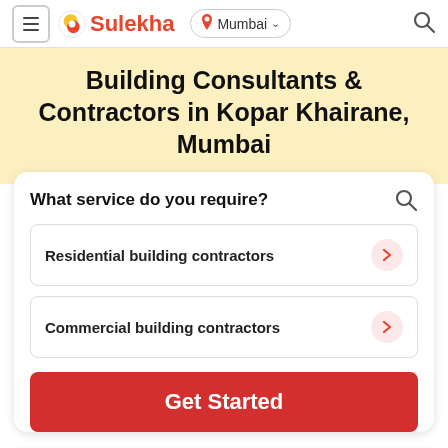Sulekha — Mumbai
Building Consultants & Contractors in Kopar Khairane, Mumbai
What service do you require?
Residential building contractors
Commercial building contractors
Get Started
How Sulekha works?
1   2   3